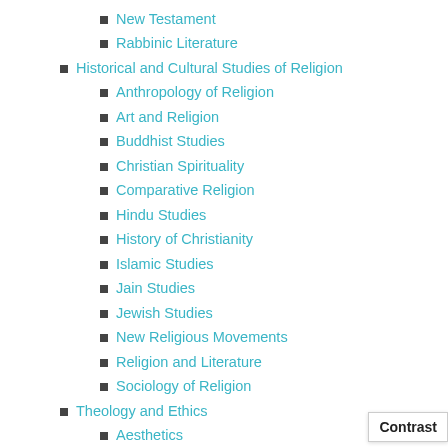New Testament
Rabbinic Literature
Historical and Cultural Studies of Religion
Anthropology of Religion
Art and Religion
Buddhist Studies
Christian Spirituality
Comparative Religion
Hindu Studies
History of Christianity
Islamic Studies
Jain Studies
Jewish Studies
New Religious Movements
Religion and Literature
Sociology of Religion
Theology and Ethics
Aesthetics
Christian Theology
Comparative Ethics
Comparative Theology
Ethics